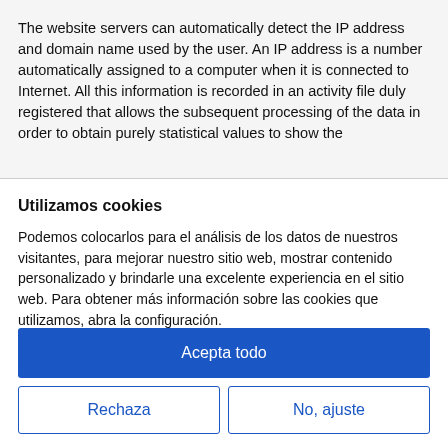The website servers can automatically detect the IP address and domain name used by the user. An IP address is a number automatically assigned to a computer when it is connected to Internet. All this information is recorded in an activity file duly registered that allows the subsequent processing of the data in order to obtain purely statistical values to show the
Utilizamos cookies
Podemos colocarlos para el análisis de los datos de nuestros visitantes, para mejorar nuestro sitio web, mostrar contenido personalizado y brindarle una excelente experiencia en el sitio web. Para obtener más información sobre las cookies que utilizamos, abra la configuración.
Acepta todo
Rechaza
No, ajuste